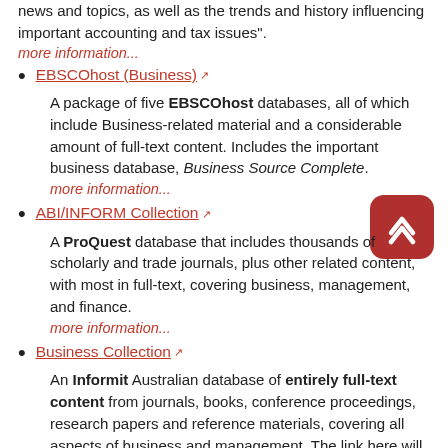news and topics, as well as the trends and history influencing important accounting and tax issues".
more information...
EBSCOhost (Business) [external link]
A package of five EBSCOhost databases, all of which include Business-related material and a considerable amount of full-text content. Includes the important business database, Business Source Complete.
more information...
ABI/INFORM Collection [external link]
A ProQuest database that includes thousands of scholarly and trade journals, plus other related content, with most in full-text, covering business, management, and finance.
more information...
Business Collection [external link]
An Informit Australian database of entirely full-text content from journals, books, conference proceedings, research papers and reference materials, covering all aspects of business and management. The link here will take you to the Informit platform with Business Collection selected. See more ... below.
more information...